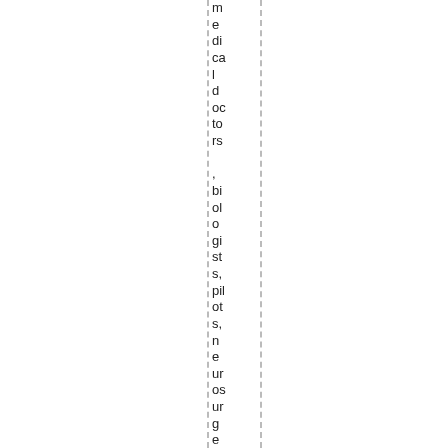medical doctors, biologists, pilots, neurosurgeons all cam